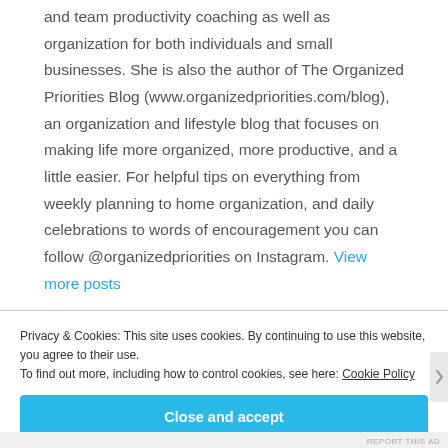and team productivity coaching as well as organization for both individuals and small businesses. She is also the author of The Organized Priorities Blog (www.organizedpriorities.com/blog), an organization and lifestyle blog that focuses on making life more organized, more productive, and a little easier. For helpful tips on everything from weekly planning to home organization, and daily celebrations to words of encouragement you can follow @organizedpriorities on Instagram. View more posts
Privacy & Cookies: This site uses cookies. By continuing to use this website, you agree to their use. To find out more, including how to control cookies, see here: Cookie Policy
Close and accept